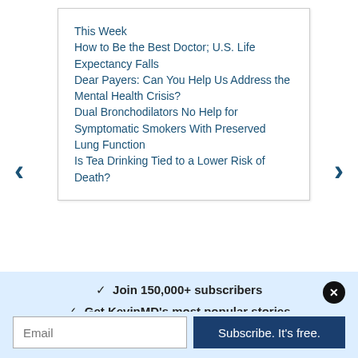This Week
How to Be the Best Doctor; U.S. Life Expectancy Falls
Dear Payers: Can You Help Us Address the Mental Health Crisis?
Dual Bronchodilators No Help for Symptomatic Smokers With Preserved Lung Function
Is Tea Drinking Tied to a Lower Risk of Death?
✓  Join 150,000+ subscribers
✓  Get KevinMD's most popular stories